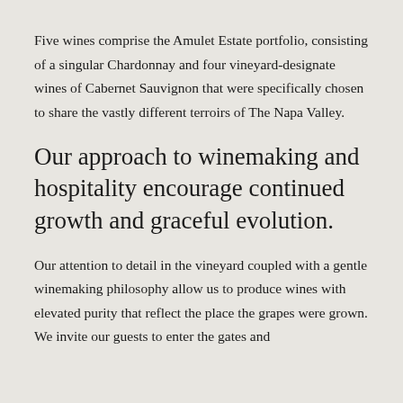Five wines comprise the Amulet Estate portfolio, consisting of a singular Chardonnay and four vineyard-designate wines of Cabernet Sauvignon that were specifically chosen to share the vastly different terroirs of The Napa Valley.
Our approach to winemaking and hospitality encourage continued growth and graceful evolution.
Our attention to detail in the vineyard coupled with a gentle winemaking philosophy allow us to produce wines with elevated purity that reflect the place the grapes were grown. We invite our guests to enter the gates and